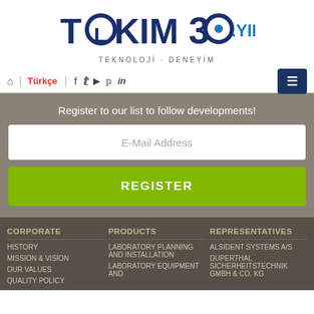[Figure (logo): TOLKIM 30.YIL logo with TEKNOLOJI · DENEYIM subtitle]
Home | Türkçe | Social links (Facebook, Twitter, YouTube, Pinterest, LinkedIn) | Menu button
Register to our list to follow developments!
E-Mail Address
REGISTER
CORPORATE
HISTORY
MISSION & VISION
OUR VALUES
QUALITY POLICY
PRODUCTS
LABORATORY PLANNING AND INSTALLATION
LABORATORY EQUIPMENT AND
REPRESENTATIVES
ALSIDENT SYSTEMS A/S
DUPERTHAL SICHERHEITSTECHNIK GMBH & CO. KG